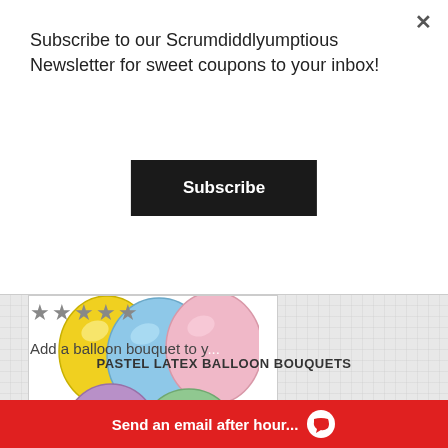Subscribe to our Scrumdiddlyumptious Newsletter for sweet coupons to your inbox!
Subscribe
[Figure (photo): Pastel latex balloons in yellow, blue, pink, purple, and green colors arranged as a bouquet]
PASTEL LATEX BALLOON BOUQUETS
★★★★★
Add a balloon bouquet to y...
Send an email after hour...